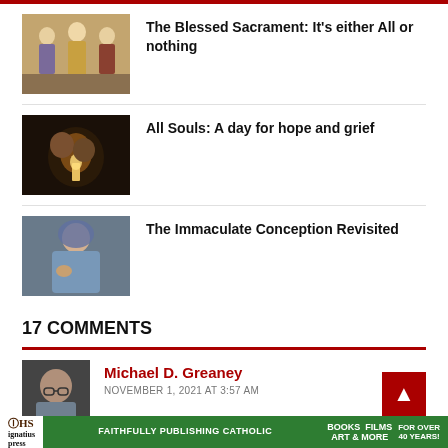[Figure (illustration): Thumbnail image of religious artwork showing figures at the Last Supper or similar scene, in Byzantine/fresco style]
The Blessed Sacrament: It's either All or nothing
[Figure (photo): Thumbnail photo of a person praying by candlelight in a dark setting]
All Souls: A day for hope and grief
[Figure (illustration): Thumbnail painting of the Virgin Mary, classical style painting]
The Immaculate Conception Revisited
17 COMMENTS
[Figure (photo): Avatar photo of Michael D. Greaney]
Michael D. Greaney
NOVEMBER 1, 2021 AT 3:57 AM
Ignatius Press — FAITHFULLY PUBLISHING CATHOLIC   BOOKS FILMS ART & MORE   FOR OVER 40 YEARS!